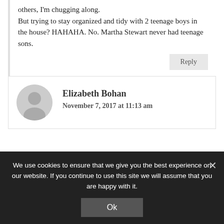others, I'm chugging along. But trying to stay organized and tidy with 2 teenage boys in the house? HAHAHA. No. Martha Stewart never had teenage sons.
Reply
Elizabeth Bohan
November 7, 2017 at 11:13 am
We use cookies to ensure that we give you the best experience on our website. If you continue to use this site we will assume that you are happy with it.
Ok